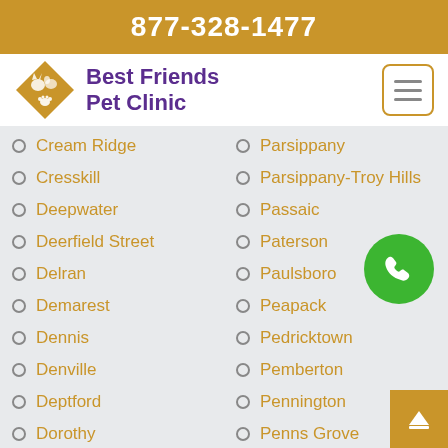877-328-1477
[Figure (logo): Best Friends Pet Clinic logo with diamond shape containing silhouettes of a cat, dog, and paw print]
Cream Ridge
Cresskill
Deepwater
Deerfield Street
Delran
Demarest
Dennis
Denville
Deptford
Dorothy
Dover
Dumont
Parsippany
Parsippany-Troy Hills
Passaic
Paterson
Paulsboro
Peapack
Pedricktown
Pemberton
Pennington
Penns Grove
Pennsauken
Pennsville